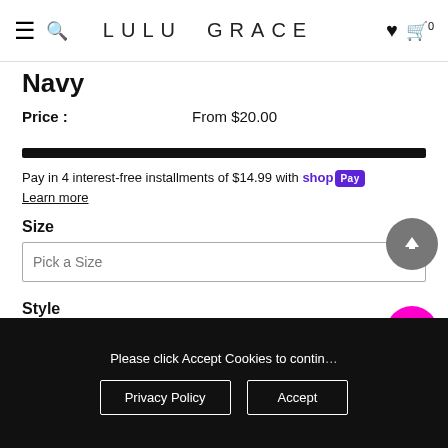LULU GRACE
Navy
Price : From $20.00
Pay in 4 interest-free installments of $14.99 with shop Pay
Learn more
Size
Pick a Size
Style
Pick a Style
Chat with us
Please click Accept Cookies to continue to use the site.
Privacy Policy   Accept